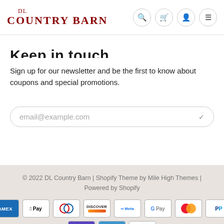Country Barn
Keep in touch
Sign up for our newsletter and be the first to know about coupons and special promotions.
email@example.com
© 2022 DL Country Barn | Shopify Theme by Mile High Themes | Powered by Shopify
[Figure (other): Payment method icons: American Express, Apple Pay, Diners Club, Discover, Meta Pay, Google Pay, Mastercard, PayPal, Shop Pay, Venmo, Visa]